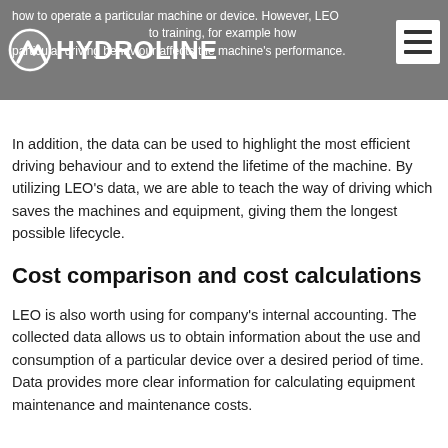how to operate a particular machine or device. However, LEO also extends to training, for example how a particular driving behaviour affects the machine's performance.
In addition, the data can be used to highlight the most efficient driving behaviour and to extend the lifetime of the machine. By utilizing LEO's data, we are able to teach the way of driving which saves the machines and equipment, giving them the longest possible lifecycle.
Cost comparison and cost calculations
LEO is also worth using for company's internal accounting. The collected data allows us to obtain information about the use and consumption of a particular device over a desired period of time. Data provides more clear information for calculating equipment maintenance and maintenance costs.